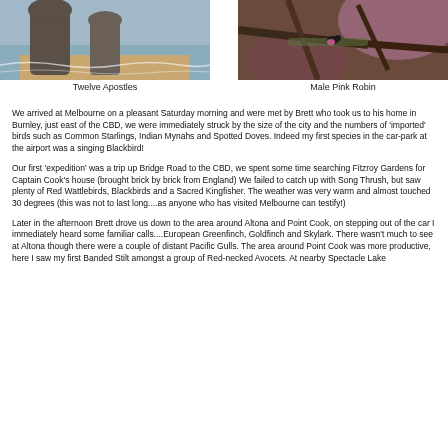[Figure (photo): Photo of Twelve Apostles rock formations at the coast with waves]
Twelve Apostles
[Figure (photo): Photo of a Male Pink Robin perched on branches]
Male Pink Robin
We arrived at Melbourne on a pleasant Saturday morning and were met by Brett who took us to his home in Burnley, just east of the CBD, we were immediately struck by the size of the city and the numbers of 'imported' birds such as Common Starlings, Indian Mynahs and Spotted Doves. Indeed my first species in the car-park at the airport was a singing Blackbird!
Our first 'expedition' was a trip up Bridge Road to the CBD, we spent some time searching Fitzroy Gardens for Captain Cook's house (brought brick by brick from England) We failed to catch up with Song Thrush, but saw plenty of Red Wattlebirds, Blackbirds and a Sacred Kingfisher. The weather was very warm and almost touched 30 degrees (this was not to last long....as anyone who has visited Melbourne can testify!)
Later in the afternoon Brett drove us down to the area around Altona and Point Cook, on stepping out of the car I immediately heard some familiar calls....European Greenfinch, Goldfinch and Skylark. There wasn't much to see at Altona though there were a couple of distant Pacific Gulls. The area around Point Cook was more productive, here I saw my first Banded Stilt amongst a group of Red-necked Avocets. At nearby Spectacle Lake